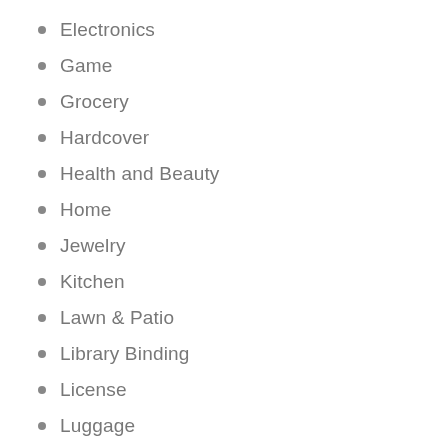Electronics
Game
Grocery
Hardcover
Health and Beauty
Home
Jewelry
Kitchen
Lawn & Patio
Library Binding
License
Luggage
Mass Market Paperback
Misc.
Misc. Supplies